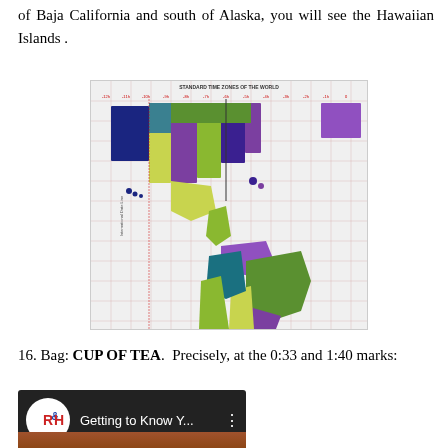of Baja California and south of Alaska, you will see the Hawaiian Islands .
[Figure (map): Standard Time Zones of the World map showing the Americas (Western Hemisphere) with countries colored in various colors (purple, green, yellow, blue) representing different time zones. A grid overlay is visible with time zone labels at the top.]
16. Bag: CUP OF TEA.  Precisely, at the 0:33 and 1:40 marks:
[Figure (screenshot): Video thumbnail showing R&H logo (circular white logo with red and blue letters) on dark background with text 'Getting to Know Y...' and a three-dot menu icon]